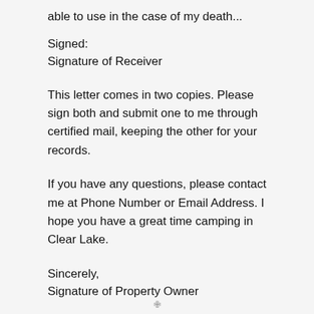able to use in the case of my death...
Signed:
Signature of Receiver
This letter comes in two copies. Please sign both and submit one to me through certified mail, keeping the other for your records.
If you have any questions, please contact me at Phone Number or Email Address. I hope you have a great time camping in Clear Lake.
Sincerely,
Signature of Property Owner